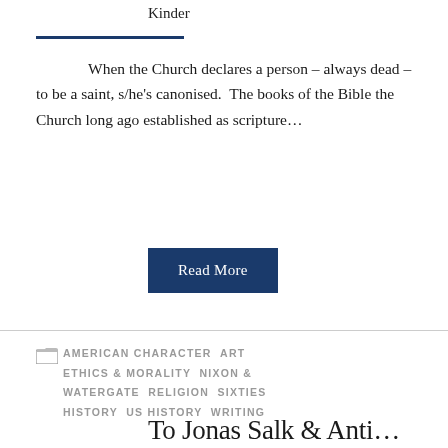Kinder
When the Church declares a person – always dead – to be a saint, s/he's canonised.  The books of the Bible the Church long ago established as scripture…
Read More
AMERICAN CHARACTER   ART   ETHICS & MORALITY   NIXON & WATERGATE   RELIGION   SIXTIES HISTORY   US HISTORY   WRITING
To Jonas Salk & Anti…